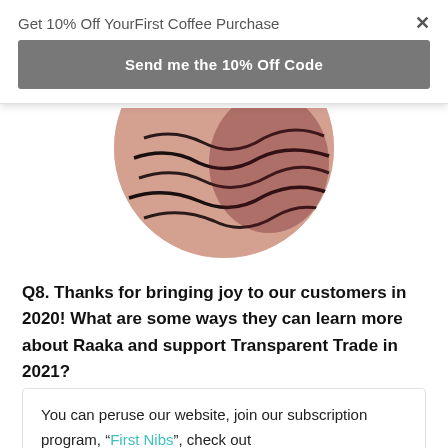Get 10% Off YourFirst Coffee Purchase
Send me the 10% Off Code
[Figure (photo): Circular cropped photo showing close-up of chocolate or coffee-related product with dark wavy lines on a pink/cream background]
Q8. Thanks for bringing joy to our customers in 2020! What are some ways they can learn more about Raaka and support Transparent Trade in 2021?
You can peruse our website, join our subscription program, “First Nibs”, check out